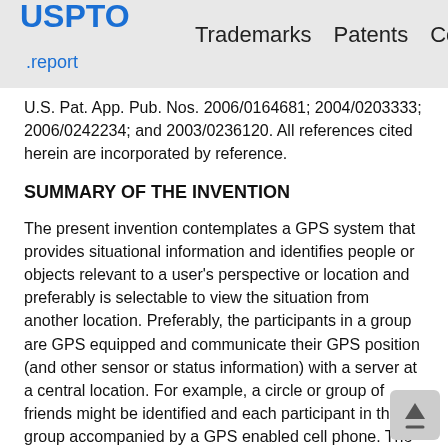USPTO .report   Trademarks   Patents   Copyright
U.S. Pat. App. Pub. Nos. 2006/0164681; 2004/0203333; 2006/0242234; and 2003/0236120. All references cited herein are incorporated by reference.
SUMMARY OF THE INVENTION
The present invention contemplates a GPS system that provides situational information and identifies people or objects relevant to a user's perspective or location and preferably is selectable to view the situation from another location. Preferably, the participants in a group are GPS equipped and communicate their GPS position (and other sensor or status information) with a server at a central location. For example, a circle or group of friends might be identified and each participant in the group accompanied by a GPS enabled cell phone. The cell phones preferably communicate locations through the cellular network to other authorized participants or unknown users meeting defined